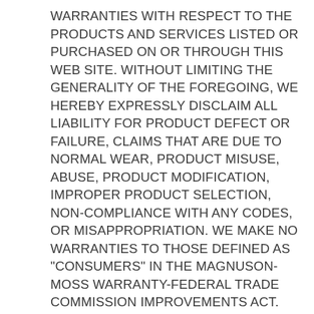WARRANTIES WITH RESPECT TO THE PRODUCTS AND SERVICES LISTED OR PURCHASED ON OR THROUGH THIS WEB SITE. WITHOUT LIMITING THE GENERALITY OF THE FOREGOING, WE HEREBY EXPRESSLY DISCLAIM ALL LIABILITY FOR PRODUCT DEFECT OR FAILURE, CLAIMS THAT ARE DUE TO NORMAL WEAR, PRODUCT MISUSE, ABUSE, PRODUCT MODIFICATION, IMPROPER PRODUCT SELECTION, NON-COMPLIANCE WITH ANY CODES, OR MISAPPROPRIATION. WE MAKE NO WARRANTIES TO THOSE DEFINED AS "CONSUMERS" IN THE MAGNUSON-MOSS WARRANTY-FEDERAL TRADE COMMISSION IMPROVEMENTS ACT. THE FOREGOING EXCLUSIONS OF IMPLIED WARRANTIES DO NOT APPLY TO THE EXTENT PROHIBITED BY LAW. PLEASE REFER TO YOUR LOCAL LAWS FOR ANY SUCH PROHIBITIONS.